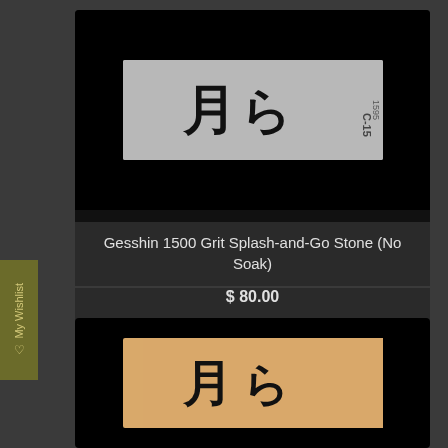[Figure (photo): Gray sharpening stone with Japanese kanji characters and 'C-15 1595' marking on right side, displayed on black background with 'Sold Out' label]
Sold Out
Gesshin 1500 Grit Splash-and-Go Stone (No Soak)
$ 80.00
[Figure (photo): Tan/brown sharpening stone with Japanese kanji characters, displayed on black background]